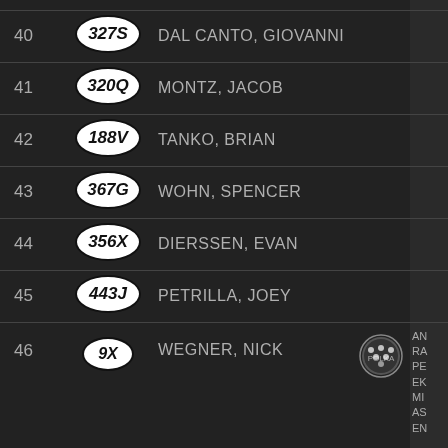| # | Badge | Name | Icon | Extra |
| --- | --- | --- | --- | --- |
| 40 | 327S | DAL CANTO, GIOVANNI |  |  |
| 41 | 320Q | MONTZ, JACOB |  |  |
| 42 | 188V | TANKO, BRIAN |  |  |
| 43 | 367G | WOHN, SPENCER |  |  |
| 44 | 356X | DIERSSEN, EVAN |  |  |
| 45 | 443J | PETRILLA, JOEY |  |  |
| 46 | 9X | WEGNER, NICK | [polka dot icon] | AN
RA
PE
EK
MI
AS
EN |
| 47 | 315R | MAGEE, WYATT |  |  |
| 48 | 317A | PETTERSON, BRADLEY |  |  |